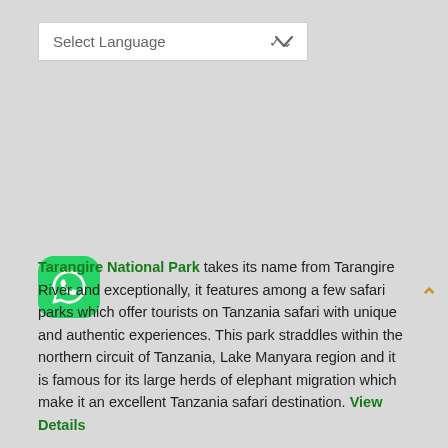[Figure (screenshot): Select Language dropdown box with white background and chevron arrow]
Tarangire National Park takes its name from Tarangire River and exceptionally, it features among a few safari parks which offer tourists on Tanzania safari with unique and authentic experiences. This park straddles within the northern circuit of Tanzania, Lake Manyara region and it is famous for its large herds of elephant migration which make it an excellent Tanzania safari destination. View Details